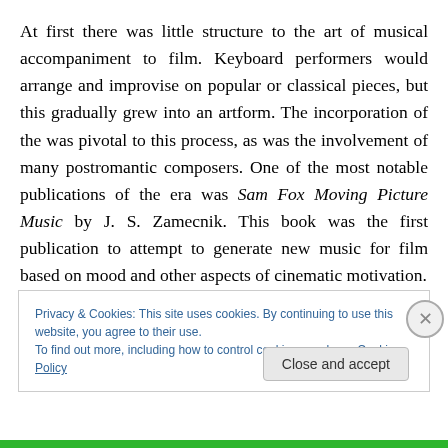At first there was little structure to the art of musical accompaniment to film. Keyboard performers would arrange and improvise on popular or classical pieces, but this gradually grew into an artform. The incorporation of the was pivotal to this process, as was the involvement of many postromantic composers. One of the most notable publications of the era was Sam Fox Moving Picture Music by J. S. Zamecnik. This book was the first publication to attempt to generate new music for film based on mood and other aspects of cinematic motivation.
Privacy & Cookies: This site uses cookies. By continuing to use this website, you agree to their use. To find out more, including how to control cookies, see here: Cookie Policy